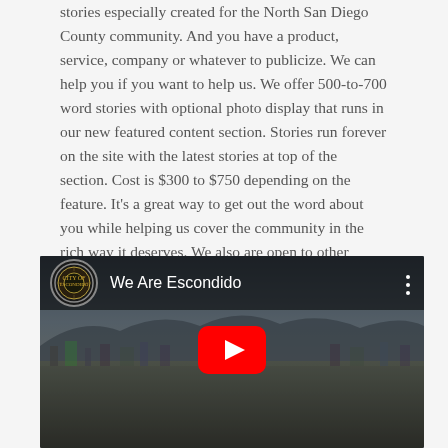stories especially created for the North San Diego County community. And you have a product, service, company or whatever to publicize. We can help you if you want to help us. We offer 500-to-700 word stories with optional photo display that runs in our new featured content section. Stories run forever on the site with the latest stories at top of the section. Cost is $300 to $750 depending on the feature. It's a great way to get out the word about you while helping us cover the community in the rich way it deserves. We also are open to other custom arrangements. Email us at escondidograpevine@gmail.com and we'll work it out.
[Figure (screenshot): Embedded YouTube video thumbnail showing an aerial view of Escondido city with the title 'We Are Escondido', YouTube play button in center, and City of Escondido seal on the top left]